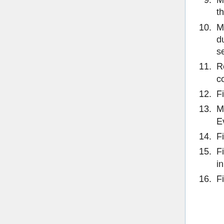9. Moved Inaudible Prayer of the Preparation in the Offering of the Lamb to the correct location.
10. Moved Inaudible Litany of the Oblations prayed during the Catholic Epistle to a separate section.
11. Removed blank entry for St. Mary from Annual commemorations.
12. Fixed Arabic typo in 3rd hour Agpeya litanies.
13. Minor update to doxology for St. John the Evangelist.
14. Fixed miscellaneous jenkim misplacements.
15. Fixed antiphonetic order of Sunday Theotokia in Veneration and typos in the Veneration.
16. Fixed typos in Psalmody and